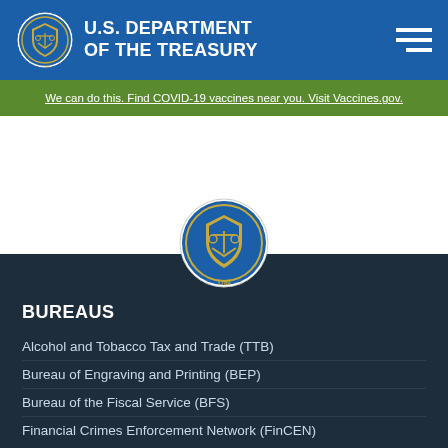U.S. DEPARTMENT OF THE TREASURY
We can do this. Find COVID-19 vaccines near you. Visit Vaccines.gov.
[Figure (logo): U.S. Department of the Treasury seal (large, centered)]
BUREAUS
Alcohol and Tobacco Tax and Trade (TTB)
Bureau of Engraving and Printing (BEP)
Bureau of the Fiscal Service (BFS)
Financial Crimes Enforcement Network (FinCEN)